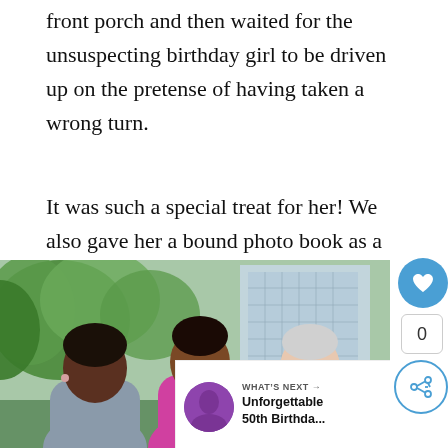front porch and then waited for the unsuspecting birthday girl to be driven up on the pretense of having taken a wrong turn.
It was such a special treat for her! We also gave her a bound photo book as a keepsake to remember the day.
Girlfriends' party day
[Figure (photo): Three women laughing and smiling together outdoors, with trees and a building in the background. A 'What's Next' overlay shows a thumbnail and text 'Unforgettable 50th Birthda...']